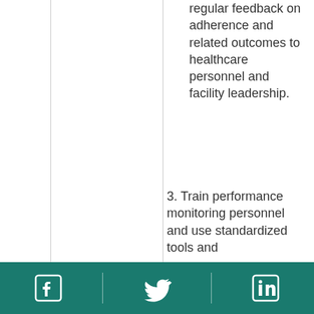regular feedback on adherence and related outcomes to healthcare personnel and facility leadership.
3. Train performance monitoring personnel and use standardized tools and
Facebook | Twitter | LinkedIn